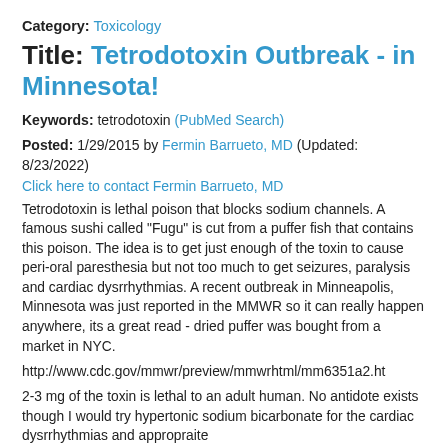Category: Toxicology
Title: Tetrodotoxin Outbreak - in Minnesota!
Keywords: tetrodotoxin (PubMed Search)
Posted: 1/29/2015 by Fermin Barrueto, MD (Updated: 8/23/2022)
Click here to contact Fermin Barrueto, MD
Tetrodotoxin is lethal poison that blocks sodium channels. A famous sushi called "Fugu" is cut from a puffer fish that contains this poison. The idea is to get just enough of the toxin to cause peri-oral paresthesia but not too much to get seizures, paralysis and cardiac dysrrhythmias. A recent outbreak in Minneapolis, Minnesota was just reported in the MMWR so it can really happen anywhere, its a great read - dried puffer was bought from a market in NYC.
http://www.cdc.gov/mmwr/preview/mmwrhtml/mm6351a2.ht
2-3 mg of the toxin is lethal to an adult human. No antidote exists though I would try hypertonic sodium bicarbonate for the cardiac dysrrhythmias and appropraite